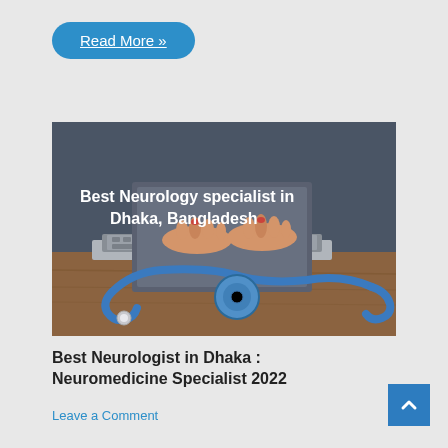Read More »
[Figure (photo): Person typing on a laptop with a stethoscope in the foreground on a wooden desk. Text overlay reads: Best Neurology specialist in Dhaka, Bangladesh]
Best Neurologist in Dhaka : Neuromedicine Specialist 2022
Leave a Comment